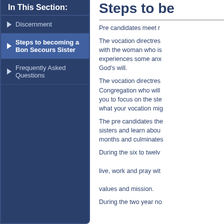In This Section:
Discernment
Steps to becoming a Bon Secours Sister
Frequently Asked Questions
Steps to be...
Pre candidates meet r...
The vocation directres... with the woman who is... experiences some anx... God’s will.
The vocation directres... Congregation who will... you to focus on the ste... what your vocation mig...
The pre candidates the... sisters and learn abou... months and culminates...
During the six to twelv... live, work and pray wit... values and mission.
During the two year no... spirituality, mission...